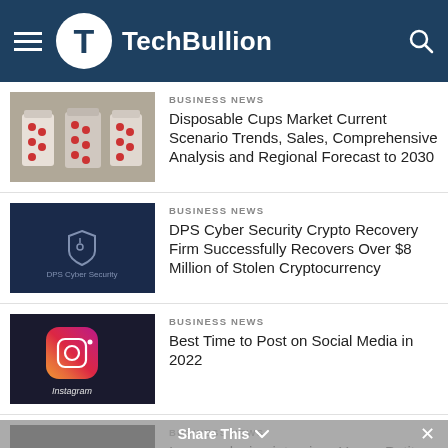TechBullion
BUSINESS NEWS
Disposable Cups Market Current Scenario Trends, Sales, Comprehensive Analysis and Regional Forecast to 2030
[Figure (photo): Photo of disposable cups filled with candy/beads]
BUSINESS NEWS
DPS Cyber Security Crypto Recovery Firm Successfully Recovers Over $8 Million of Stolen Cryptocurrency
[Figure (logo): DPS Cyber Security logo on dark blue background]
BUSINESS NEWS
Best Time to Post on Social Media in 2022
[Figure (photo): Instagram app icon on smartphone]
BUSINESS NEWS
In an exclusive interview, Yoana Petit, talks about Moviltex, Tech-Driven
[Figure (photo): Dark/black image thumbnail]
Share This